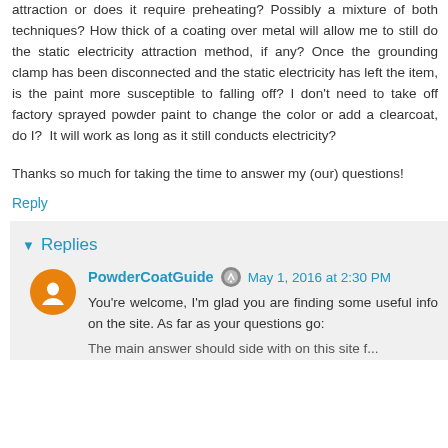attraction or does it require preheating? Possibly a mixture of both techniques? How thick of a coating over metal will allow me to still do the static electricity attraction method, if any? Once the grounding clamp has been disconnected and the static electricity has left the item, is the paint more susceptible to falling off? I don't need to take off factory sprayed powder paint to change the color or add a clearcoat, do I?  It will work as long as it still conducts electricity?
Thanks so much for taking the time to answer my (our) questions!
Reply
Replies
PowderCoatGuide  May 1, 2016 at 2:30 PM
You're welcome, I'm glad you are finding some useful info on the site. As far as your questions go:
The main answer should side with on this site f...